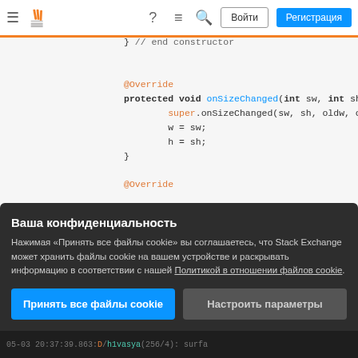Stack Exchange navigation bar with logo, help, chat, search, login and registration buttons
[Figure (screenshot): Code snippet showing Java @Override onSizeChanged method with super call and variable assignments]
Обратите внимание на мои параноидальные логи, контролирующие каждый шаг. Вот что
Ваша конфиденциальность
Нажимая «Принять все файлы cookie» вы соглашаетесь, что Stack Exchange может хранить файлы cookie на вашем устройстве и раскрывать информацию в соответствии с нашей Политикой в отношении файлов cookie.
Принять все файлы cookie   Настроить параметры
05-03 20:37:39.863: D/h1vasya(256/4): surfa